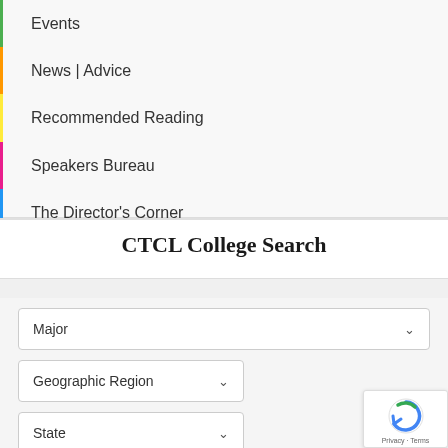Events
News | Advice
Recommended Reading
Speakers Bureau
The Director's Corner
CTCL College Search
Major (dropdown)
Geographic Region (dropdown)
State (dropdown)